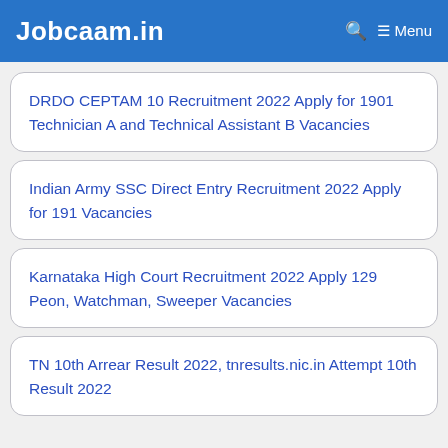Jobcaam.in   🔍  ≡ Menu
DRDO CEPTAM 10 Recruitment 2022 Apply for 1901 Technician A and Technical Assistant B Vacancies
Indian Army SSC Direct Entry Recruitment 2022 Apply for 191 Vacancies
Karnataka High Court Recruitment 2022 Apply 129 Peon, Watchman, Sweeper Vacancies
TN 10th Arrear Result 2022, tnresults.nic.in Attempt 10th Result 2022